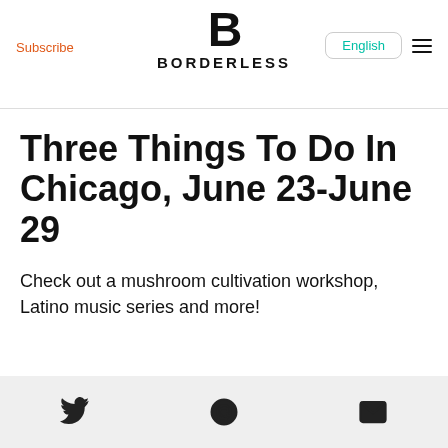Subscribe | BORDERLESS | English
Three Things To Do In Chicago, June 23-June 29
Check out a mushroom cultivation workshop, Latino music series and more!
Twitter | WhatsApp | Email icons